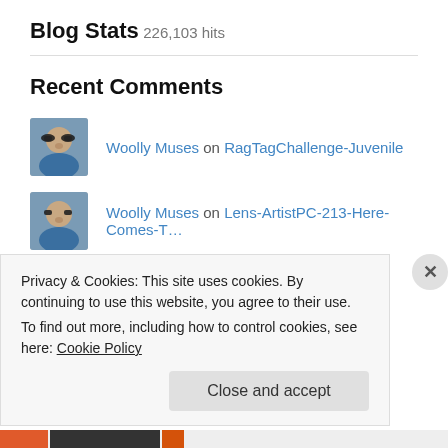Blog Stats
226,103 hits
Recent Comments
Woolly Muses on RagTagChallenge-Juvenile
Woolly Muses on Lens-ArtistPC-213-Here-Comes-T…
Woolly Muses on Lens-ArtistPC-213-Here-Comes-T…
Privacy & Cookies: This site uses cookies. By continuing to use this website, you agree to their use.
To find out more, including how to control cookies, see here: Cookie Policy
Close and accept